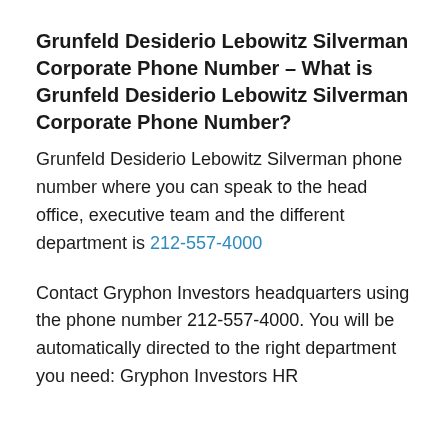Grunfeld Desiderio Lebowitz Silverman Corporate Phone Number – What is Grunfeld Desiderio Lebowitz Silverman Corporate Phone Number?
Grunfeld Desiderio Lebowitz Silverman phone number where you can speak to the head office, executive team and the different department is 212-557-4000
Contact Gryphon Investors headquarters using the phone number 212-557-4000. You will be automatically directed to the right department you need: Gryphon Investors HR